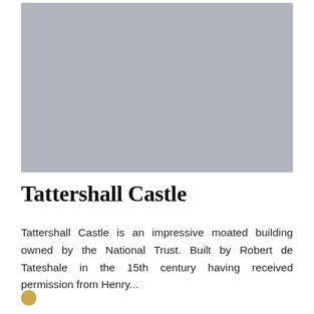[Figure (photo): Gray placeholder image representing Tattershall Castle photograph]
Tattershall Castle
Tattershall Castle is an impressive moated building owned by the National Trust. Built by Robert de Tateshale in the 15th century having received permission from Henry...